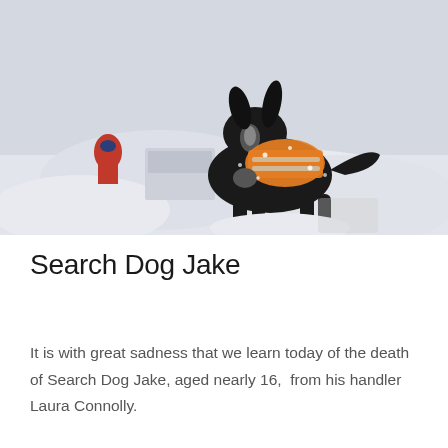[Figure (photo): A black and white Border Collie dog wearing an orange hi-vis search and rescue vest, standing in snow on a snowy hillside. In the background there are people partially visible and a snow structure. The dog is facing left, wet and covered in snow.]
Search Dog Jake
It is with great sadness that we learn today of the death of Search Dog Jake, aged nearly 16,  from his handler Laura Connolly.